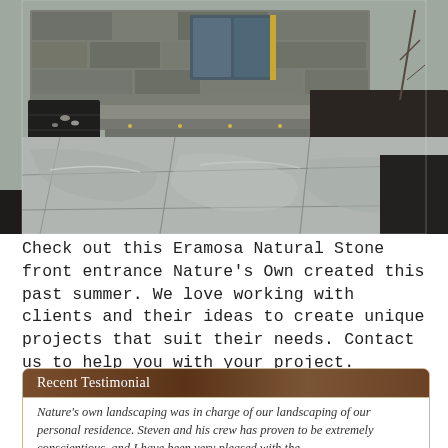[Figure (photo): Outdoor front entrance featuring large polished Eramosa natural stone patio tiles with reflective surface, stone building facade in background, wooden raised platform steps, and dark mulch landscaping. Grey cloudy sky visible.]
Check out this Eramosa Natural Stone front entrance Nature's Own created this past summer. We love working with clients and their ideas to create unique projects that suit their needs. Contact us to help you with your project.
Recent Testimonial
Nature's own landscaping was in charge of our landscaping of our personal residence. Steven and his crew has proven to be extremely conscientious, and I have been very pleased with the